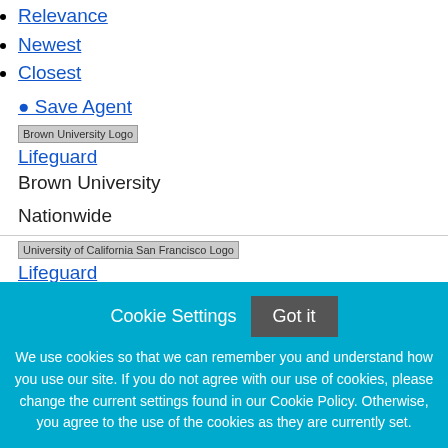Relevance
Newest
Closest
Save Agent
[Figure (logo): Brown University Logo placeholder image]
Lifeguard
Brown University

Nationwide
[Figure (logo): University of California San Francisco Logo placeholder image]
Lifeguard
University of California San Francisco
Cookie Settings   Got it

We use cookies so that we can remember you and understand how you use our site. If you do not agree with our use of cookies, please change the current settings found in our Cookie Policy. Otherwise, you agree to the use of the cookies as they are currently set.